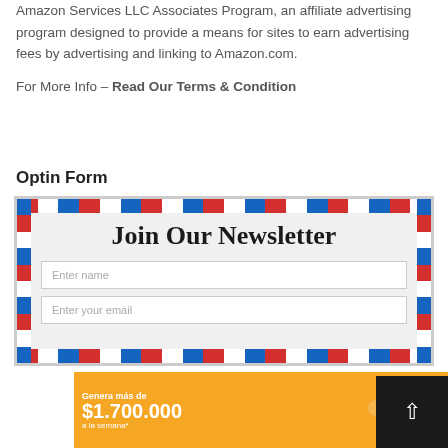Amazon Services LLC Associates Program, an affiliate advertising program designed to provide a means for sites to earn advertising fees by advertising and linking to Amazon.com.
For More Info – Read Our Terms & Condition
Optin Form
[Figure (other): Newsletter optin form widget inside an airmail-style envelope border with blue and red diagonal stripes. Contains 'Join Our Newsletter' heading, 'Enter name' input field, and 'Enter your email' input field.]
[Figure (other): DiDi advertisement banner with orange background. Text: 'Genera más de $1,700.000 a la semana*' with DiDi logo and illustration of a delivery person.]